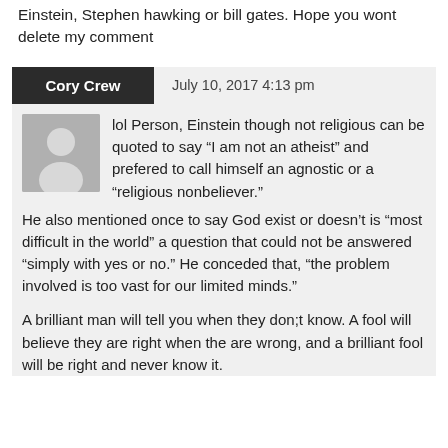Einstein, Stephen hawking or bill gates. Hope you wont delete my comment
Cory Crew   July 10, 2017 4:13 pm
lol Person, Einstein though not religious can be quoted to say “I am not an atheist” and prefered to call himself an agnostic or a “religious nonbeliever.” He also mentioned once to say God exist or doesn’t is “most difficult in the world” a question that could not be answered “simply with yes or no.” He conceded that, “the problem involved is too vast for our limited minds.”
A brilliant man will tell you when they don;t know. A fool will believe they are right when the are wrong, and a brilliant fool will be right and never know it.